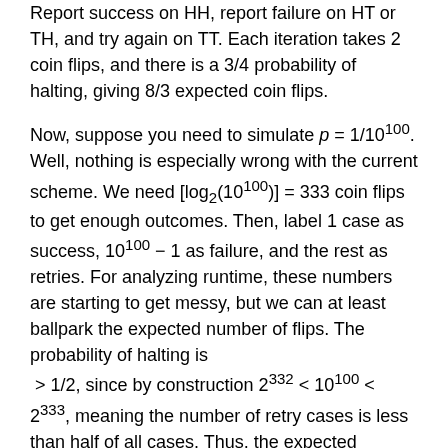Report success on HH, report failure on HT or TH, and try again on TT. Each iteration takes 2 coin flips, and there is a 3/4 probability of halting, giving 8/3 expected coin flips.
Now, suppose you need to simulate p = 1/10^100. Well, nothing is especially wrong with the current scheme. We need [log_2(10^100)] = 333 coin flips to get enough outcomes. Then, label 1 case as success, 10^100 − 1 as failure, and the rest as retries. For analyzing runtime, these numbers are starting to get messy, but we can at least ballpark the expected number of flips. The probability of halting is > 1/2, since by construction 2^332 < 10^100 < 2^333, meaning the number of retry cases is less than half of all cases. Thus, the expected number of flips is at most 666. Yes, that is…
(•_•) ( •_•)>⌐■-■ (⌐■_■)
a devilish upper bound, but things could be worse.
(I'm not sorry.)